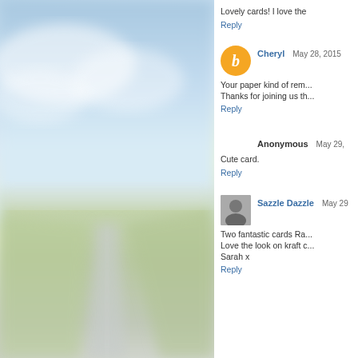[Figure (photo): Blurred outdoor landscape photo showing a road receding into the distance with blue sky and clouds above, green fields on the sides — serves as background image for the left half of the blog page.]
Lovely cards! I love the
Reply
Cheryl  May 28, 2015
Your paper kind of rem... Thanks for joining us th...
Reply
Anonymous  May 29,
Cute card.
Reply
[Figure (photo): Small black and white profile photo of a woman, used as avatar for Sazzle Dazzle.]
Sazzle Dazzle  May 29
Two fantastic cards Ra... Love the look on kraft c... Sarah x
Reply